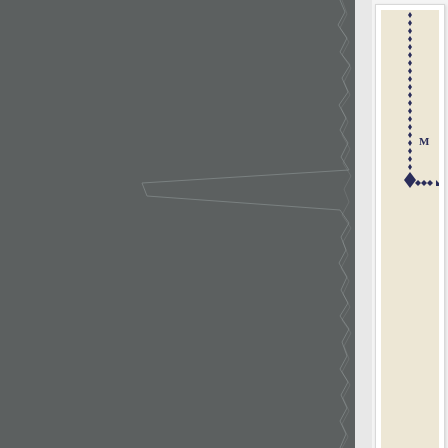[Figure (illustration): Partial view of a decorative diagram on aged/cream paper showing a cross or ornamental pattern made of diamond shapes and dots, with the letter M visible. The diagram appears to be from an old book or document.]
It's funny how stuff so...
I was over at Bob Kin... ago. At the end of tha... rescued from the 'to b...
The Mick Carlton Lea... please!?' 'Safety Bea...
So off I go- Trove aw...